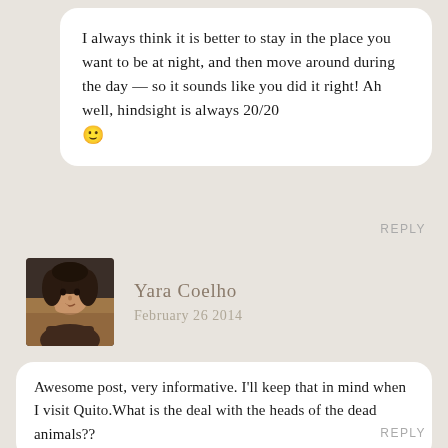I always think it is better to stay in the place you want to be at night, and then move around during the day — so it sounds like you did it right! Ah well, hindsight is always 20/20 🙂
REPLY
[Figure (photo): Profile photo of Yara Coelho, a woman with curly dark hair]
Yara Coelho
February 26 2014
Awesome post, very informative. I'll keep that in mind when I visit Quito.What is the deal with the heads of the dead animals??
REPLY